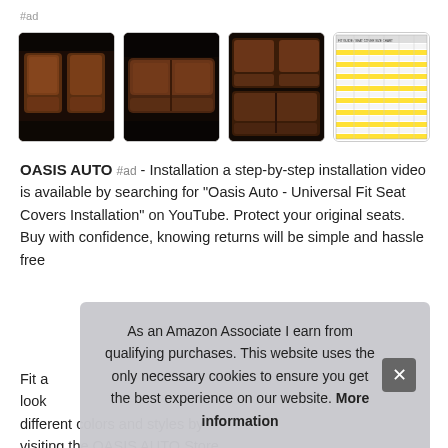#ad
[Figure (photo): Brown leather car seat covers - front seat interior view]
[Figure (photo): Brown leather car seat covers - rear seat view]
[Figure (photo): Brown leather car seat covers - combined front and rear view]
[Figure (table-as-image): Vehicle compatibility chart with yellow highlighted rows]
OASIS AUTO #ad - Installation a step-by-step installation video is available by searching for "Oasis Auto - Universal Fit Seat Covers Installation" on YouTube. Protect your original seats. Buy with confidence, knowing returns will be simple and hassle free
Fit a look different colors and styles by visiting the OASIS AUTO Store
As an Amazon Associate I earn from qualifying purchases. This website uses the only necessary cookies to ensure you get the best experience on our website. More information